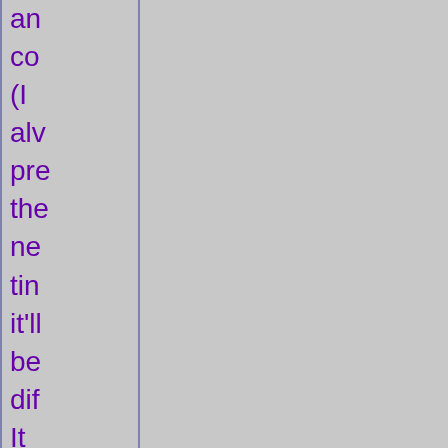an co (I alw pro the ne tim it'll be dif It ne is. As alw I ha pe